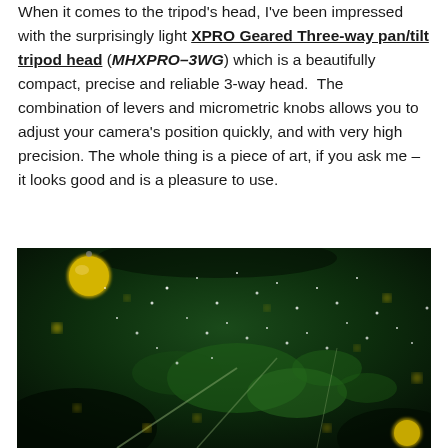When it comes to the tripod's head, I've been impressed with the surprisingly light XPRO Geared Three-way pan/tilt tripod head (MHXPRO–3WG) which is a beautifully compact, precise and reliable 3-way head.  The combination of levers and micrometric knobs allows you to adjust your camera's position quickly, and with very high precision. The whole thing is a piece of art, if you ask me – it looks good and is a pleasure to use.
[Figure (photo): Close-up macro photograph of a green plant (likely moss or lichen) with bokeh gold and white sparkles/water droplets in a dark background. Gold Christmas ornament balls visible in upper left.]